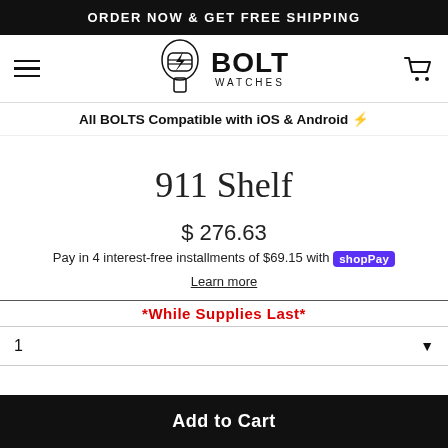ORDER NOW & GET FREE SHIPPING
[Figure (logo): Bolt Watches logo with lightning bolt fist graphic and text BOLT WATCHES]
All BOLTS Compatible with iOS & Android ⚡
911 Shelf
$ 276.63
Pay in 4 interest-free installments of $69.15 with Shop Pay
Learn more
*While Supplies Last*
1
Add to Cart